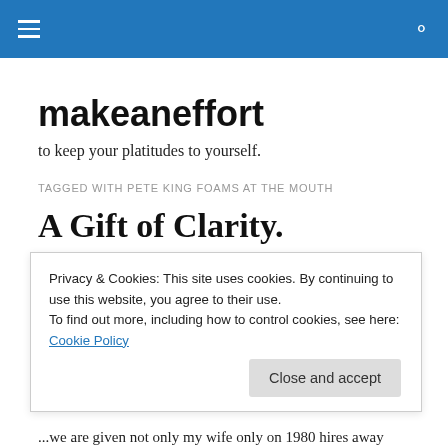makeaneffort — navigation header bar
makeaneffort
to keep your platitudes to yourself.
TAGGED WITH PETE KING FOAMS AT THE MOUTH
A Gift of Clarity.
Just when I got back from my lengthy, unbelievably...
Privacy & Cookies: This site uses cookies. By continuing to use this website, you agree to their use.
To find out more, including how to control cookies, see here: Cookie Policy
...we are given not only my wife only on 1980 hires away